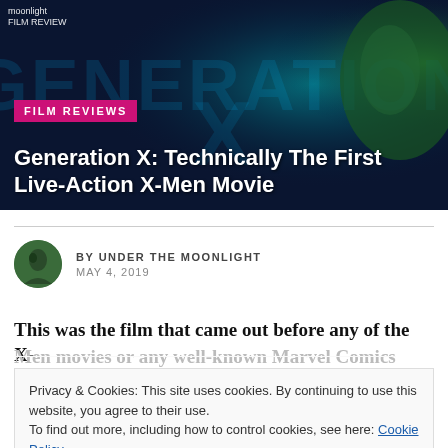[Figure (photo): Hero banner image for Generation X film review article with dark blue/teal background showing stylized Generation X title text and character imagery on right side]
FILM REVIEWS
Generation X: Technically The First Live-Action X-Men Movie
BY UNDER THE MOONLIGHT
MAY 4, 2019
This was the film that came out before any of the X-Men movies or any well-known Marvel Comics…
Privacy & Cookies: This site uses cookies. By continuing to use this website, you agree to their use.
To find out more, including how to control cookies, see here: Cookie Policy
Close and accept